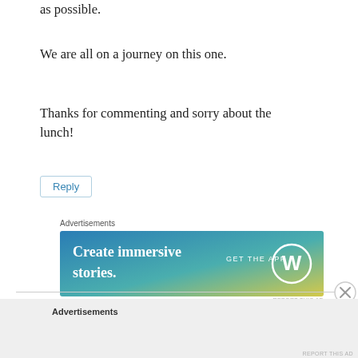as possible.
We are all on a journey on this one.
Thanks for commenting and sorry about the lunch!
Reply
Advertisements
[Figure (other): WordPress advertisement banner: gradient blue-to-yellow background with text 'Create immersive stories.' on the left and 'GET THE APP' with WordPress logo on the right.]
REPORT THIS AD
Advertisements
REPORT THIS AD